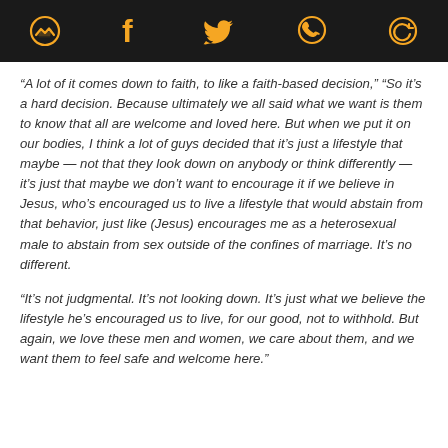[Social media share icons: Messenger, Facebook, Twitter, WhatsApp, and another icon]
“A lot of it comes down to faith, to like a faith-based decision,” “So it’s a hard decision. Because ultimately we all said what we want is them to know that all are welcome and loved here. But when we put it on our bodies, I think a lot of guys decided that it’s just a lifestyle that maybe — not that they look down on anybody or think differently — it’s just that maybe we don’t want to encourage it if we believe in Jesus, who’s encouraged us to live a lifestyle that would abstain from that behavior, just like (Jesus) encourages me as a heterosexual male to abstain from sex outside of the confines of marriage. It’s no different.
“It’s not judgmental. It’s not looking down. It’s just what we believe the lifestyle he’s encouraged us to live, for our good, not to withhold. But again, we love these men and women, we care about them, and we want them to feel safe and welcome here.”